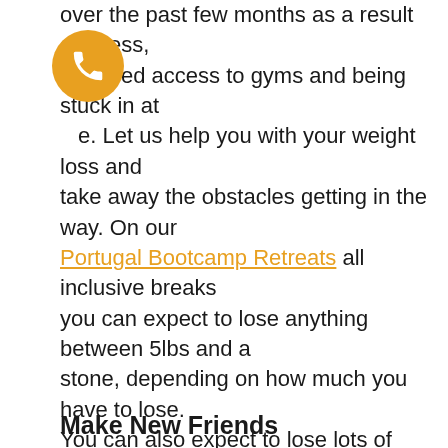[Figure (logo): Orange circular phone/call icon button]
over the past few months as a result of stress, ced access to gyms and being stuck in at e. Let us help you with your weight loss and take away the obstacles getting in the way. On our Portugal Bootcamp Retreats all inclusive breaks you can expect to lose anything between 5lbs and a stone, depending on how much you have to lose. You can also expect to lose lots of inches too (average is between 5-10 per person). Our bootcamp weekends in the UK are more of a kickstart, but you can still expect to lose a few pounds and inches, and most of our customers then go on to lose loads more as a result in the following few weeks.
Make New Friends